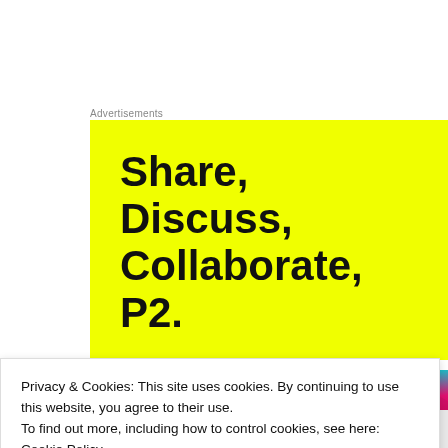Advertisements
[Figure (other): Yellow advertisement banner with bold black text reading 'Share, Discuss, Collaborate, P2.']
[Figure (photo): Colorful abstract image strip with orange, teal, and pink tones]
Privacy & Cookies: This site uses cookies. By continuing to use this website, you agree to their use.
To find out more, including how to control cookies, see here: Cookie Policy
Close and accept